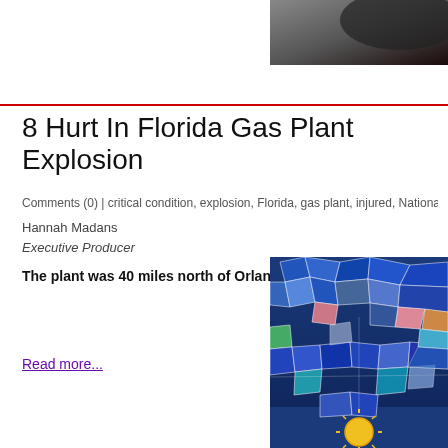[Figure (photo): Dark background image in top right corner]
8 Hurt In Florida Gas Plant Explosion
Comments (0) | critical condition, explosion, Florida, gas plant, injured, National,
Hannah Madans
Executive Producer
The plant was 40 miles north of Orlando.
Read more...
[Figure (illustration): Colorful mosaic or stained-glass style artwork with blue swirling patterns, multicolored fragments, and a yellow sun motif at the bottom center]